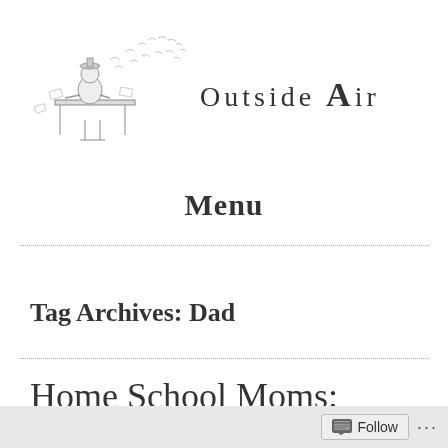[Figure (illustration): Blog logo: illustration of a person sitting at a desk with papers flying, alongside stylized text 'Outside Air' with decorative leaf/bird motifs]
Menu
Tag Archives: Dad
Home School Moms: